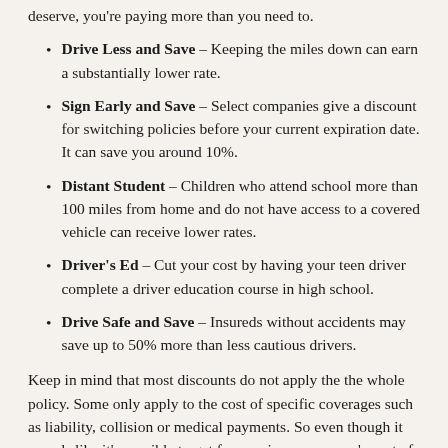deserve, you're paying more than you need to.
Drive Less and Save – Keeping the miles down can earn a substantially lower rate.
Sign Early and Save – Select companies give a discount for switching policies before your current expiration date. It can save you around 10%.
Distant Student – Children who attend school more than 100 miles from home and do not have access to a covered vehicle can receive lower rates.
Driver's Ed – Cut your cost by having your teen driver complete a driver education course in high school.
Drive Safe and Save – Insureds without accidents may save up to 50% more than less cautious drivers.
Keep in mind that most discounts do not apply the the whole policy. Some only apply to the cost of specific coverages such as liability, collision or medical payments. So even though it sounds like it's possible to get free car insurance, you're out of luck. Any amount of discount will cut the cost of coverage.